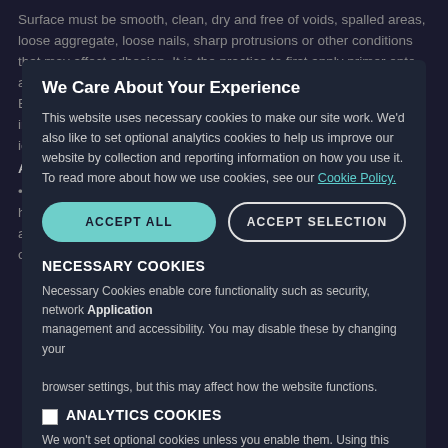Surface must be smooth, clean, dry and free of voids, spalled areas, loose aggregate, loose nails, sharp protrusions or other conditions that may affect adhesion. It is the practice to first apply primer onto any gypsum sheathing cut edges that will receive PERM-A-BARRIER® NPS Detail Membrane to help reduce risk that may impact adhesion. In cold temperature installations do not apply over ice or frost.
Application
Pre-cut PERM-A-BARRIER® NPS Detail Membrane to easily handled lengths. Peel release paper from roll to expose adhesive and carefully position the membrane against substrate. The entirety of the
We Care About Your Experience
This website uses necessary cookies to make our site work. We'd also like to set optional analytics cookies to help us improve our website by collection and reporting information on how you use it. To read more about how we use cookies, see our Cookie Policy.
ACCEPT ALL
ACCEPT SELECTION
NECESSARY COOKIES
Necessary Cookies enable core functionality such as security, network management and accessibility. You may disable these by changing your browser settings, but this may affect how the website functions.
ANALYTICS COOKIES
We won't set optional cookies unless you enable them. Using this tool will set a cookie on your device to remember your preferences.